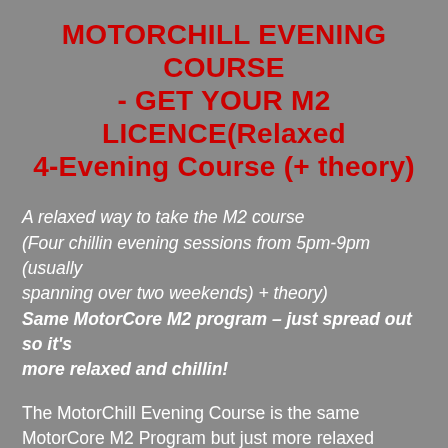MOTORCHILL EVENING COURSE - GET YOUR M2 LICENCE(Relaxed 4-Evening Course (+ theory)
A relaxed way to take the M2 course (Four chillin evening sessions from 5pm-9pm (usually spanning over two weekends) + theory) Same MotorCore M2 program – just spread out so it's more relaxed and chillin!
The MotorChill Evening Course is the same MotorCore M2 Program but just more relaxed because it's spread out! This course is 3 hours of in-class theory (6:30PM-9:30PM) held during an evening prior to the practical sessions. The practical is four chillin evenings of 4-hour